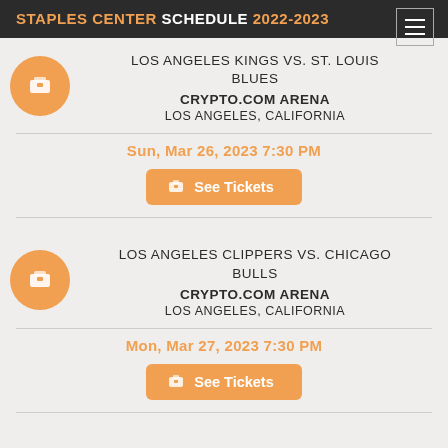STAPLES CENTER SCHEDULE 2022-2023
LOS ANGELES KINGS VS. ST. LOUIS BLUES
CRYPTO.COM ARENA
LOS ANGELES, CALIFORNIA
Sun, Mar 26, 2023 7:30 PM
See Tickets
LOS ANGELES CLIPPERS VS. CHICAGO BULLS
CRYPTO.COM ARENA
LOS ANGELES, CALIFORNIA
Mon, Mar 27, 2023 7:30 PM
See Tickets